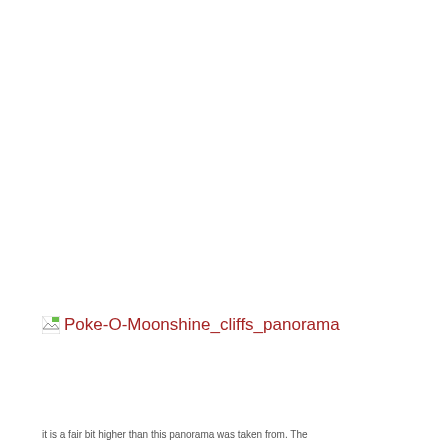[Figure (photo): Broken image placeholder showing 'Poke-O-Moonshine_cliffs_panorama' — the image failed to load and displays a broken image icon with red alt text]
it is a fair bit higher than this panorama was taken from. The